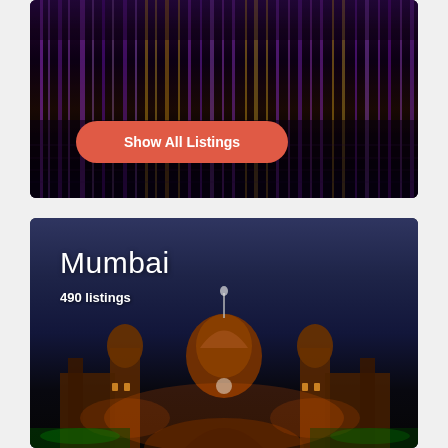[Figure (photo): Aerial/water reflection photo with colorful purple and gold light streaks on dark water, with a 'Show All Listings' button overlay]
Show All Listings
[Figure (photo): Night photo of Mumbai's Chhatrapati Shivaji Terminus illuminated in orange and gold lights against a blue-grey dusk sky]
Mumbai
490 listings